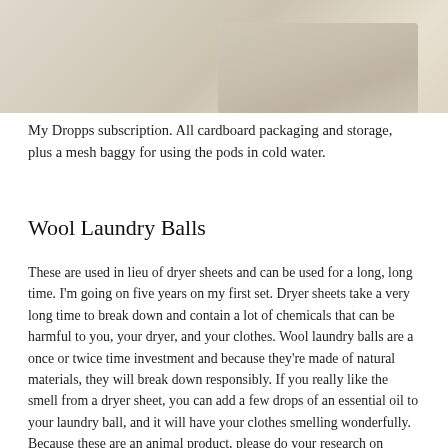[Figure (photo): Top portion of a photo showing what appears to be fabric or packaging with a beige/cream colored surface, likely related to Dropps laundry subscription packaging.]
My Dropps subscription. All cardboard packaging and storage, plus a mesh baggy for using the pods in cold water.
Wool Laundry Balls
These are used in lieu of dryer sheets and can be used for a long, long time. I'm going on five years on my first set. Dryer sheets take a very long time to break down and contain a lot of chemicals that can be harmful to you, your dryer, and your clothes. Wool laundry balls are a once or twice time investment and because they're made of natural materials, they will break down responsibly. If you really like the smell from a dryer sheet, you can add a few drops of an essential oil to your laundry ball, and it will have your clothes smelling wonderfully. Because these are an animal product, please do your research on where they come from. Dropps offers wool laundry balls from sustainable and cruelty free sources.